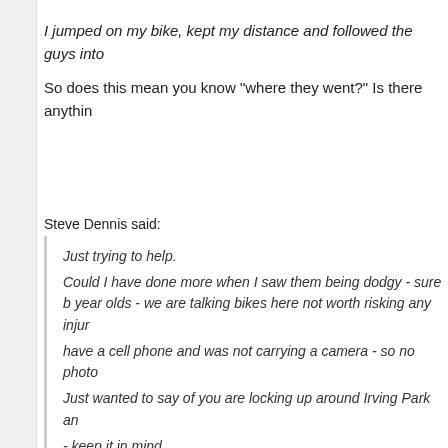I jumped on my bike, kept my distance and followed the guys into
So does this mean you know "where they went?" Is there anythin
Steve Dennis said:
Just trying to help.
Could I have done more when I saw them being dodgy - sure b year olds - we are talking bikes here not worth risking any injur have a cell phone and was not carrying a camera - so no photo Just wanted to say of you are locking up around Irving Park an - keep it in mind.
>>
► Reply
Reply by Tim S on June 24, 2010 at 9:09am
Sad that this is a common occurrence but I can imagine with the